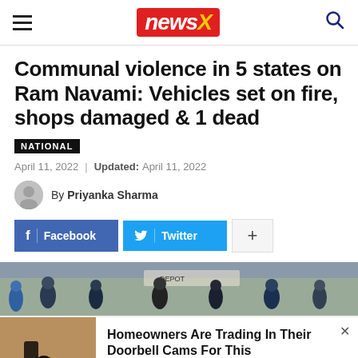newsX
Communal violence in 5 states on Ram Navami: Vehicles set on fire, shops damaged & 1 dead
NATIONAL
April 11, 2022 | Updated: April 11, 2022
By Priyanka Sharma
Facebook  Twitter  +
[Figure (photo): News photo showing people in street scene, possibly related to communal violence coverage]
Homeowners Are Trading In Their Doorbell Cams For This
Camerca | Sponsored